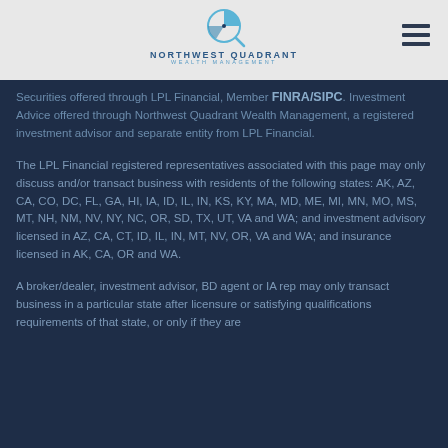[Figure (logo): Northwest Quadrant Wealth Management logo with circular chart icon and text]
Securities offered through LPL Financial, Member FINRA/SIPC. Investment Advice offered through Northwest Quadrant Wealth Management, a registered investment advisor and separate entity from LPL Financial.
The LPL Financial registered representatives associated with this page may only discuss and/or transact business with residents of the following states: AK, AZ, CA, CO, DC, FL, GA, HI, IA, ID, IL, IN, KS, KY, MA, MD, ME, MI, MN, MO, MS, MT, NH, NM, NV, NY, NC, OR, SD, TX, UT, VA and WA; and investment advisory licensed in AZ, CA, CT, ID, IL, IN, MT, NV, OR, VA and WA; and insurance licensed in AK, CA, OR and WA.
A broker/dealer, investment advisor, BD agent or IA rep may only transact business in a particular state after licensure or satisfying qualifications requirements of that state, or only if they are